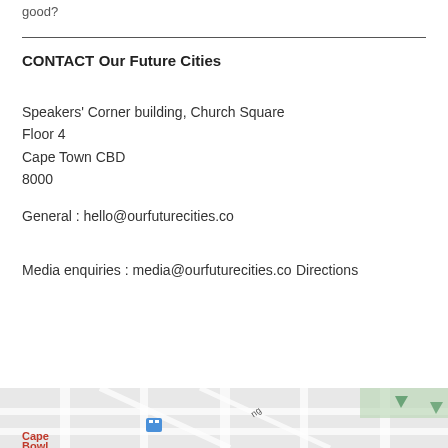good?
CONTACT
Our Future Cities
Speakers' Corner building, Church Square
Floor 4
Cape Town CBD
8000
General : hello@ourfuturecities.co
Media enquiries : media@ourfuturecities.co
Directions
[Figure (map): Partial street map showing Cape Town CBD area with map icons and street labels]